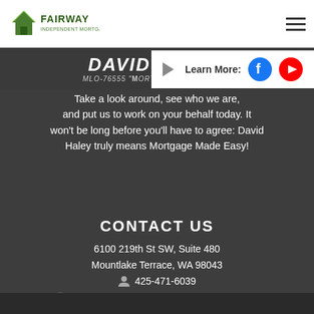[Figure (logo): Fairway Independent Mortgage Corporation logo - green house icon with FAIRWAY text]
DAVID HALEY MLO-76555 "Mortgage made Easy"
[Figure (infographic): Learn More panel with Facebook and YouTube social icons]
Take a look around, see who we are, and put us to work on your behalf today. It won't be long before you'll have to agree: David Haley truly means Mortgage Made Easy!
CONTACT US
6100 219th St SW, Suite 480
Mountlake Terrace, WA 98043
425-471-6039
[Figure (infographic): Redfin award badge icon and David Haley on Redfin button]